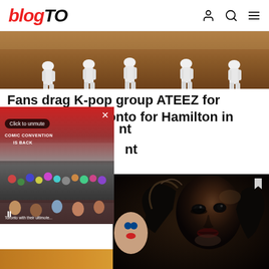blogTO
[Figure (photo): K-pop group performing on stage in white outfits, viewed from behind/side, bowing or dancing]
Fans drag K-pop group ATEEZ for skipping Toronto for Hamilton in tour announcement
[Figure (screenshot): Video overlay of comic convention crowd with 'COMIC CONVENTION IS BACK' text, close button X, Click to unmute button, pause button]
[Figure (photo): Horror cosplay person with dark long hair and dramatic makeup, close-up portrait]
[Figure (photo): Partially visible blurred photo at bottom of page]